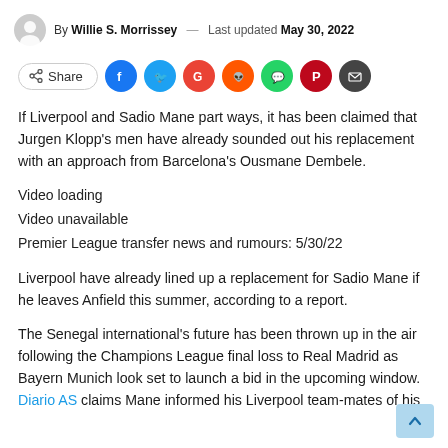By Willie S. Morrissey — Last updated May 30, 2022
[Figure (infographic): Social share bar with Share button and icons for Facebook, Twitter, Google, Reddit, WhatsApp, Pinterest, Email]
If Liverpool and Sadio Mane part ways, it has been claimed that Jurgen Klopp's men have already sounded out his replacement with an approach from Barcelona's Ousmane Dembele.
Video loading
Video unavailable
Premier League transfer news and rumours: 5/30/22
Liverpool have already lined up a replacement for Sadio Mane if he leaves Anfield this summer, according to a report.
The Senegal international's future has been thrown up in the air following the Champions League final loss to Real Madrid as Bayern Munich look set to launch a bid in the upcoming window. Diario AS claims Mane informed his Liverpool team-mates of his